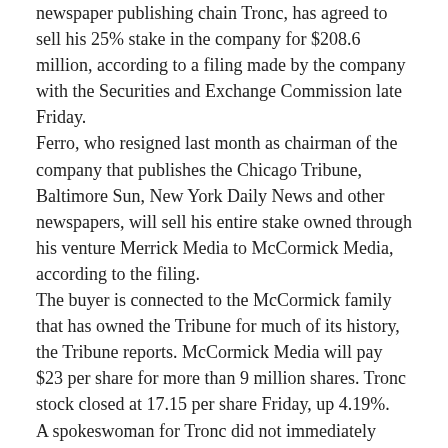newspaper publishing chain Tronc, has agreed to sell his 25% stake in the company for $208.6 million, according to a filing made by the company with the Securities and Exchange Commission late Friday.
Ferro, who resigned last month as chairman of the company that publishes the Chicago Tribune, Baltimore Sun, New York Daily News and other newspapers, will sell his entire stake owned through his venture Merrick Media to McCormick Media, according to the filing.
The buyer is connected to the McCormick family that has owned the Tribune for much of its history, the Tribune reports. McCormick Media will pay $23 per share for more than 9 million shares. Tronc stock closed at 17.15 per share Friday, up 4.19%.
A spokeswoman for Tronc did not immediately respond to requests for comment.